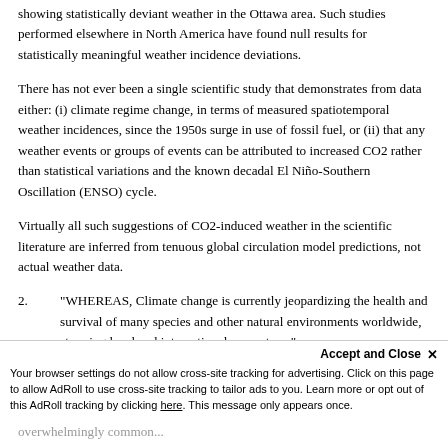showing statistically deviant weather in the Ottawa area. Such studies performed elsewhere in North America have found null results for statistically meaningful weather incidence deviations.
There has not ever been a single scientific study that demonstrates from data either: (i) climate regime change, in terms of measured spatiotemporal weather incidences, since the 1950s surge in use of fossil fuel, or (ii) that any weather events or groups of events can be attributed to increased CO2 rather than statistical variations and the known decadal El Niño-Southern Oscillation (ENSO) cycle.
Virtually all such suggestions of CO2-induced weather in the scientific literature are inferred from tenuous global circulation model predictions, not actual weather data.
2.   "WHEREAS, Climate change is currently jeopardizing the health and survival of many species and other natural environments worldwide, stressing local and international ecosystems"
This is false and misleading...
overwhelmingly common...